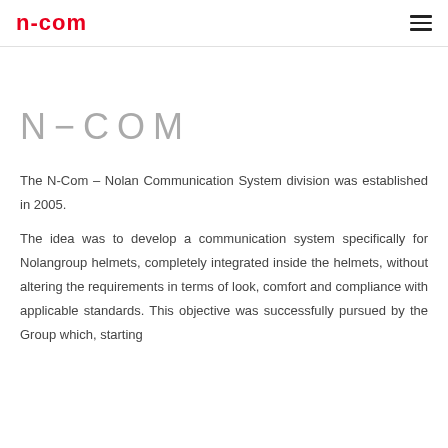n-com
N−COM
The N-Com – Nolan Communication System division was established in 2005.
The idea was to develop a communication system specifically for Nolangroup helmets, completely integrated inside the helmets, without altering the requirements in terms of look, comfort and compliance with applicable standards. This objective was successfully pursued by the Group which, starting